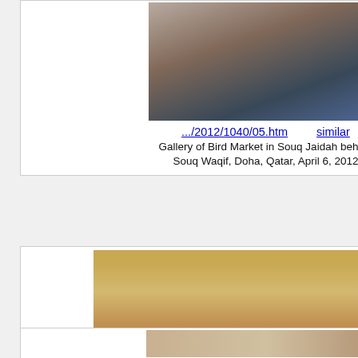[Figure (photo): Interior of Bird Market in Souq Jaidah, architectural ceiling photo]
.../2012/1040/05.htm    similar
Gallery of Bird Market in Souq Jaidah behind Souq Waqif, Doha, Qatar, April 6, 2012
[Figure (photo): Courtyard passage of Bird Market in Souq Jaidah behind Souq Waqif, Doha, Qatar]
.../2015/1646/19.htm    similar
Courtyard passage of Bird Market in Souq Jaidah behind Souq Waqif. Doha, Qatar, September 2, 2015
[Figure (photo): Partial view of another image at the bottom of the page]